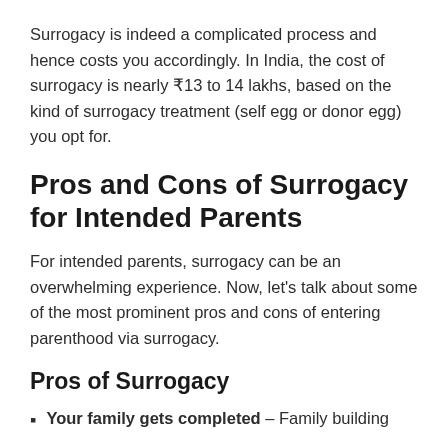Surrogacy is indeed a complicated process and hence costs you accordingly. In India, the cost of surrogacy is nearly ₹13 to 14 lakhs, based on the kind of surrogacy treatment (self egg or donor egg) you opt for.
Pros and Cons of Surrogacy for Intended Parents
For intended parents, surrogacy can be an overwhelming experience. Now, let's talk about some of the most prominent pros and cons of entering parenthood via surrogacy.
Pros of Surrogacy
Your family gets completed – Family building